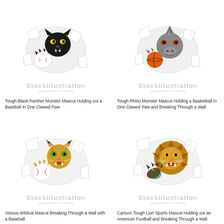[Figure (illustration): Tough Black Panther Monster Mascot holding a baseball in one clawed paw, breaking through a wall. Stock illustration with watermark.]
Tough Black Panther Monster Mascot Holding out a Baseball in One Clawed Paw
[Figure (illustration): Tough Rhino Monster Mascot holding a basketball in one clawed paw and breaking through a wall. Stock illustration with watermark.]
Tough Rhino Monster Mascot Holding a Basketball in One Clawed Paw and Breaking Through a Wall
[Figure (illustration): Vicious Wildcat Mascot breaking through a wall with a baseball. Stock illustration with watermark.]
Vicious Wildcat Mascot Breaking Through a Wall with a Baseball
[Figure (illustration): Cartoon Tough Lion Sports Mascot holding out an American Football and breaking through a wall. Stock illustration with watermark.]
Cartoon Tough Lion Sports Mascot Holding out an American Football and Breaking Through a Wall